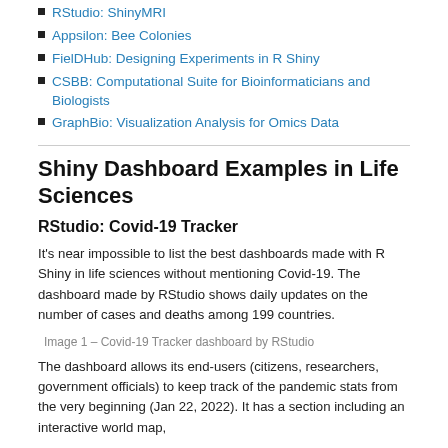RStudio: ShinyMRI
Appsilon: Bee Colonies
FielDHub: Designing Experiments in R Shiny
CSBB: Computational Suite for Bioinformaticians and Biologists
GraphBio: Visualization Analysis for Omics Data
Shiny Dashboard Examples in Life Sciences
RStudio: Covid-19 Tracker
It's near impossible to list the best dashboards made with R Shiny in life sciences without mentioning Covid-19. The dashboard made by RStudio shows daily updates on the number of cases and deaths among 199 countries.
Image 1 – Covid-19 Tracker dashboard by RStudio
The dashboard allows its end-users (citizens, researchers, government officials) to keep track of the pandemic stats from the very beginning (Jan 22, 2022). It has a section including an interactive world map,